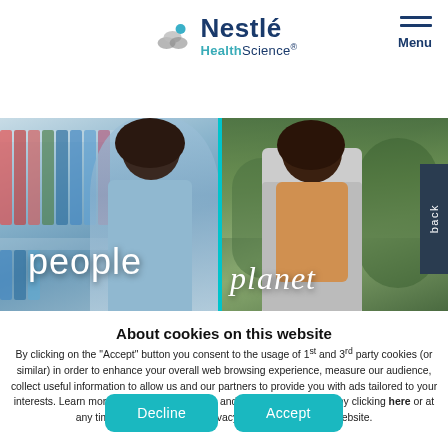Nestlé HealthScience
[Figure (photo): Split hero image: left side shows a person with curly hair browsing shelves (pharmacy/retail), with text 'people'; right side shows a person with a backpack outdoors in greenery, with text 'planet' in italic. A cyan vertical divider separates the two halves. A dark 'back' tab on the far right edge.]
About cookies on this website
By clicking on the "Accept" button you consent to the usage of 1st and 3rd party cookies (or similar) in order to enhance your overall web browsing experience, measure our audience, collect useful information to allow us and our partners to provide you with ads tailored to your interests. Learn more on our privacy notice and set your preferences by clicking here or at any time by clicking on the "Privacy settings" link on our website.